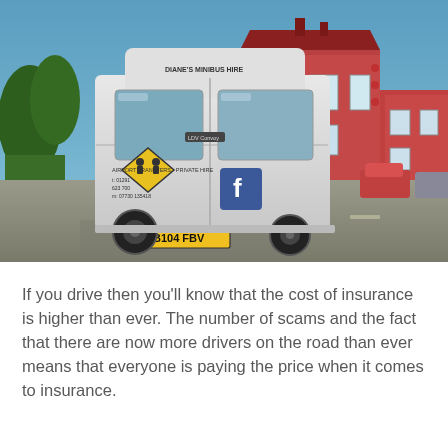[Figure (photo): A white minibus van (Diane's Minibus Hire) parked or driving on a residential road, viewed from the rear, with red-brick houses visible in the background and a blue sky. The van shows text: AIRPORT TRANSFERS - PRIVATE HIRE, phone numbers, and a Facebook logo. License plate reads B104 FBV.]
If you drive then you'll know that the cost of insurance is higher than ever. The number of scams and the fact that there are now more drivers on the road than ever means that everyone is paying the price when it comes to insurance.